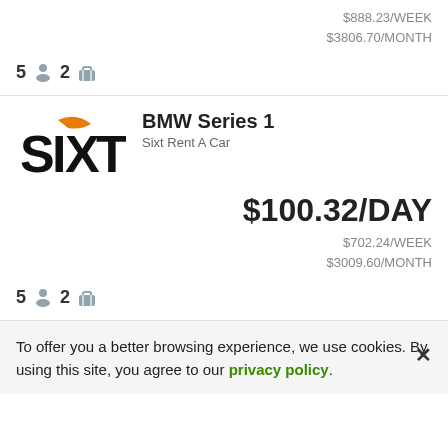$888.23/WEEK
$3806.70/MONTH
5  2
BMW Series 1
Sixt Rent A Car
[Figure (logo): Sixt Rent A Car logo — black and orange stylized SIXT text]
$100.32/DAY
$702.24/WEEK
$3009.60/MONTH
5  2
To offer you a better browsing experience, we use cookies. By using this site, you agree to our privacy policy.